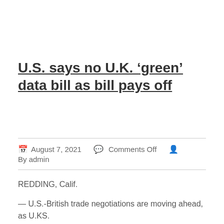U.S. says no U.K. ‘green’ data bill as bill pays off
August 7, 2021   Comments Off   By admin
REDDING, Calif.

— U.S.-British trade negotiations are moving ahead, as U.KS.

Prime Minister Boris Johnson is looking to sign a trade deal that would enable the U.N. General Assembly to